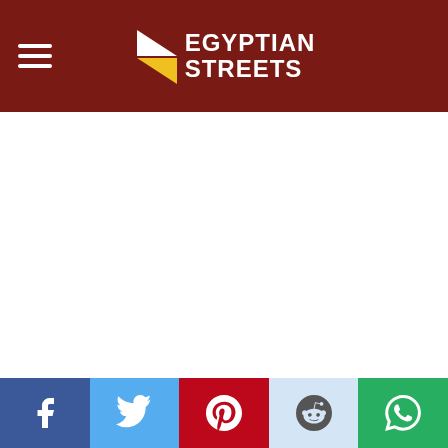Egyptian Streets
Egypt's Oldest Caves Uncover Beauty, Art and
Social share bar: Facebook, Twitter, Pinterest, Reddit, WhatsApp